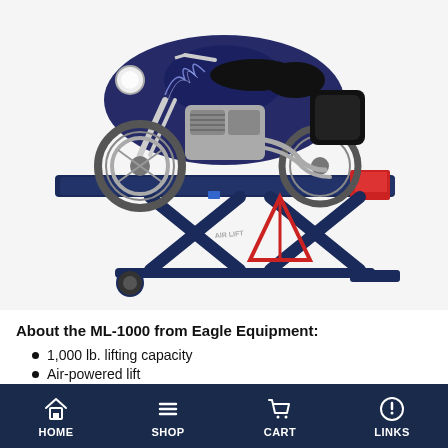[Figure (photo): A motorcycle (Harley-Davidson style, dark blue with flame graphics) mounted on a blue air-powered scissor lift table (Eagle Equipment ML-1000). The lift table is shown at low position with scissor mechanism visible underneath, red support struts, and the motorcycle's front and rear wheels resting on the platform.]
About the ML-1000 from Eagle Equipment:
1,000 lb. lifting capacity
Air-powered lift
HOME  SHOP  CART  LINKS